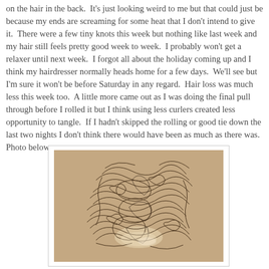on the hair in the back.  It's just looking weird to me but that could just be because my ends are screaming for some heat that I don't intend to give it.  There were a few tiny knots this week but nothing like last week and my hair still feels pretty good week to week.  I probably won't get a relaxer until next week.  I forgot all about the holiday coming up and I think my hairdresser normally heads home for a few days.  We'll see but I'm sure it won't be before Saturday in any regard.  Hair loss was much less this week too.  A little more came out as I was doing the final pull through before I rolled it but I think using less curlers created less opportunity to tangle.  If I hadn't skipped the rolling or good tie down the last two nights I don't think there would have been as much as there was.  Photo below.
[Figure (photo): A sepia-toned photograph of a tangled mass of shed hair strands collected together, shown against a light background.]